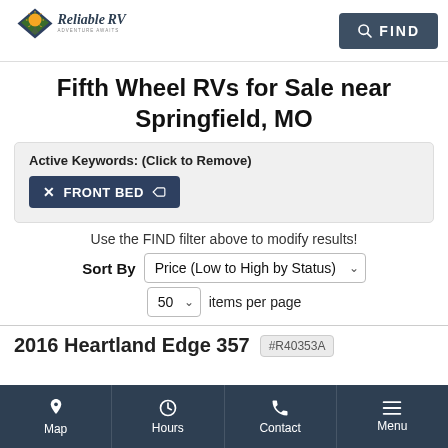Reliable RV — FIND
Fifth Wheel RVs for Sale near Springfield, MO
Active Keywords: (Click to Remove) × FRONT BED
Use the FIND filter above to modify results!
Sort By Price (Low to High by Status) 50 items per page
2016 Heartland Edge 357 #R40353A
Map  Hours  Contact  Menu